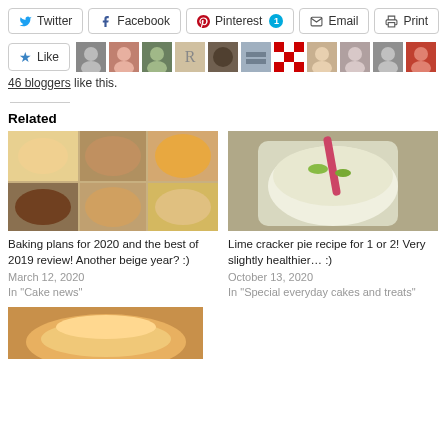[Figure (screenshot): Social share buttons row: Twitter, Facebook, Pinterest (with badge '1'), Email, Print]
[Figure (screenshot): Like button with star icon and a row of 11 blogger avatar thumbnails]
46 bloggers like this.
Related
[Figure (photo): Collage of baked goods photos]
Baking plans for 2020 and the best of 2019 review! Another beige year? :)
March 12, 2020
In "Cake news"
[Figure (photo): Photo of lime cracker pie in a jar with a straw]
Lime cracker pie recipe for 1 or 2! Very slightly healthier… :)
October 13, 2020
In "Special everyday cakes and treats"
[Figure (photo): Partial photo at bottom of page showing a dessert]